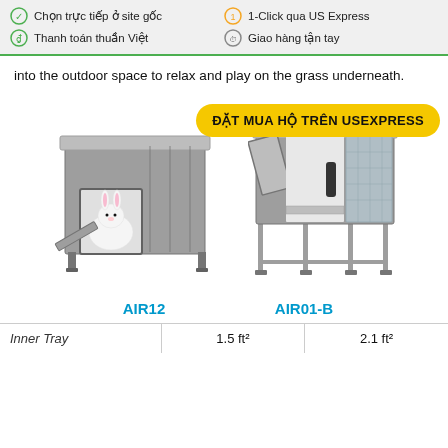Chọn trực tiếp ở site gốc  Thanh toán thuần Việt  1-Click qua US Express  Giao hàng tận tay
into the outdoor space to relax and play on the grass underneath.
[Figure (photo): Two rabbit hutch product images side by side: left shows AIR12 model with a white rabbit inside and a ramp; right shows AIR01-B model with open side door. A yellow badge reads 'ĐẶT MUA HỘ TRÊN USEXPRESS'.]
AIR12   AIR01-B
| Inner Tray | AIR12 | AIR01-B |
| --- | --- | --- |
| Inner Tray | 1.5 ft² | 2.1 ft² |